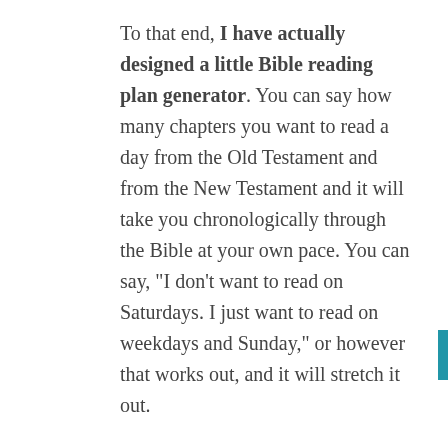To that end, I have actually designed a little Bible reading plan generator. You can say how many chapters you want to read a day from the Old Testament and from the New Testament and it will take you chronologically through the Bible at your own pace. You can say, "I don't want to read on Saturdays. I just want to read on weekdays and Sunday," or however that works out, and it will stretch it out.
For instance, you may come up with a chronological reading plan that takes you through three and a half years to accomplish, but it's probably much more easily able to be accomplished than if you tried to do it in a year.